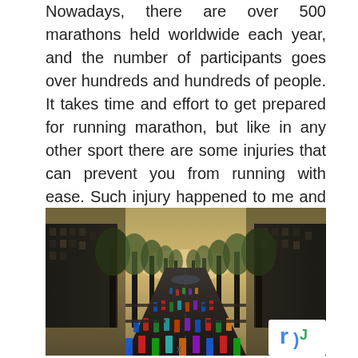Nowadays, there are over 500 marathons held worldwide each year, and the number of participants goes over hundreds and hundreds of people. It takes time and effort to get prepared for running marathon, but like in any other sport there are some injuries that can prevent you from running with ease. Such injury happened to me and it is called runner's knee. I can guarantee you that this knee injury is an ultimate marathon killer, and I would like to share with you what it is.
[Figure (photo): Aerial/street-level view of a marathon race taking place on a long tree-lined urban boulevard, with hundreds of runners filling the road between tall buildings on both sides]
x